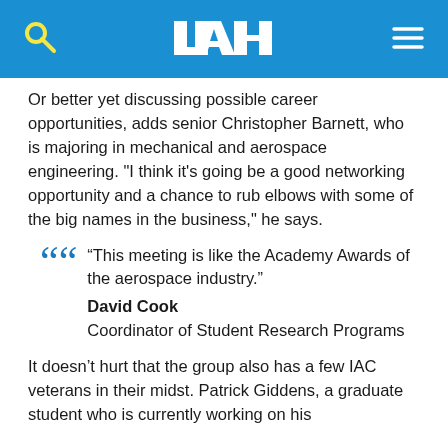UAH header with logo, search and menu icons
Or better yet discussing possible career opportunities, adds senior Christopher Barnett, who is majoring in mechanical and aerospace engineering. "I think it's going be a good networking opportunity and a chance to rub elbows with some of the big names in the business," he says.
“This meeting is like the Academy Awards of the aerospace industry.” David Cook Coordinator of Student Research Programs
It doesn’t hurt that the group also has a few IAC veterans in their midst. Patrick Giddens, a graduate student who is currently working on his